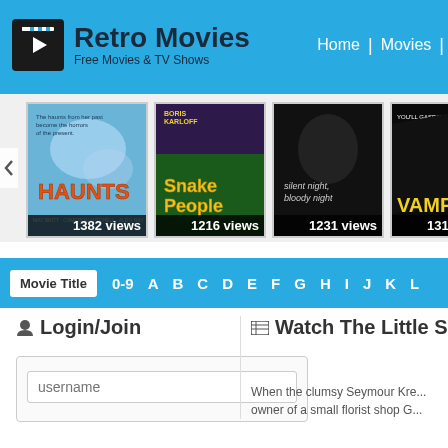Retro Movies — Free Movies & TV Shows | Home | Movies
[Figure (screenshot): Movie posters carousel: Haunts (1382 views), Snake People (1216 views), Silent Night Bloody Night (1231 views), Vampire (1312 views), One-Eyed Jacks (partial)]
Movie Title  0-9  A  B  C  D  E  F  G  H  I  J  K  L
Login/Join
username
Watch The Little S
When the clumsy Seymour Kre... owner of a small florist shop G...